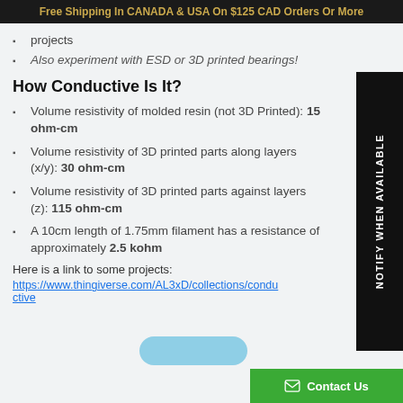Free Shipping In CANADA & USA On $125 CAD Orders Or More
projects
Also experiment with ESD or 3D printed bearings!
How Conductive Is It?
Volume resistivity of molded resin (not 3D Printed): 15 ohm-cm
Volume resistivity of 3D printed parts along layers (x/y): 30 ohm-cm
Volume resistivity of 3D printed parts against layers (z): 115 ohm-cm
A 10cm length of 1.75mm filament has a resistance of approximately 2.5 kohm
Here is a link to some projects:
https://www.thingiverse.com/AL3xD/collections/conductive